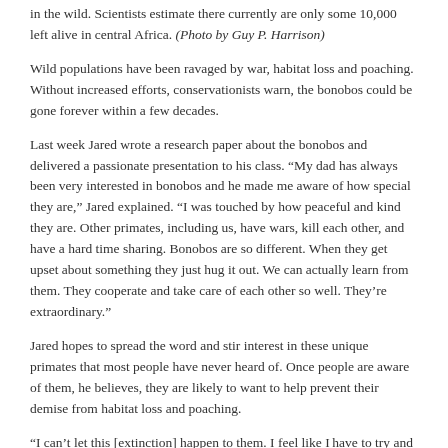in the wild. Scientists estimate there currently are only some 10,000 left alive in central Africa. (Photo by Guy P. Harrison)
Wild populations have been ravaged by war, habitat loss and poaching. Without increased efforts, conservationists warn, the bonobos could be gone forever within a few decades.
Last week Jared wrote a research paper about the bonobos and delivered a passionate presentation to his class. “My dad has always been very interested in bonobos and he made me aware of how special they are,” Jared explained. “I was touched by how peaceful and kind they are. Other primates, including us, have wars, kill each other, and have a hard time sharing. Bonobos are so different. When they get upset about something they just hug it out. We can actually learn from them. They cooperate and take care of each other so well. They’re extraordinary.”
Jared hopes to spread the word and stir interest in these unique primates that most people have never heard of. Once people are aware of them, he believes, they are likely to want to help prevent their demise from habitat loss and poaching.
“I can’t let this [extinction] happen to them. I feel like I have to try and help them. I’m going to give all the money I have saved and my friends at school are going to give money too. I hope adults in Cayman will visit the Web site, www.bonobos.org, and donate money. You can even adopt a bonobo on the site. You don’t get to keep it but you help keep it safe in the